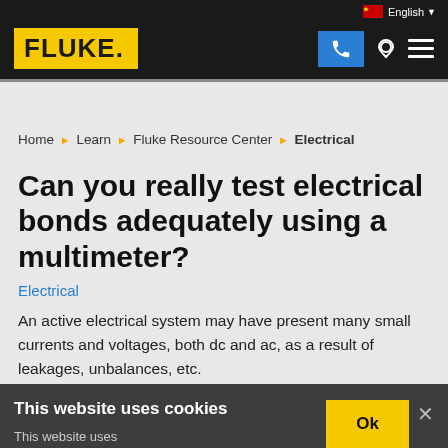FLUKE. | English | Phone | Location | Menu
Home ▶ Learn ▶ Fluke Resource Center ▶ Electrical
Can you really test electrical bonds adequately using a multimeter?
Electrical
An active electrical system may have present many small currents and voltages, both dc and ac, as a result of leakages, unbalances, etc.
This website uses cookies
This website uses